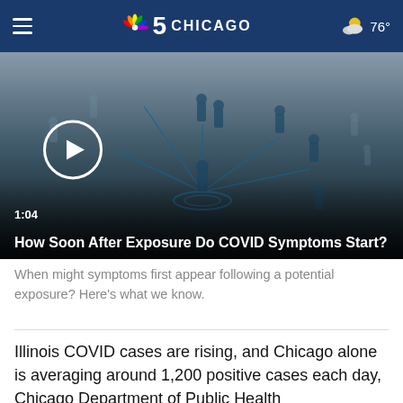NBC 5 Chicago | 76°
[Figure (screenshot): Video thumbnail showing silhouette figures connected by network lines on a dark misty background, with play button, duration 1:04, and title 'How Soon After Exposure Do COVID Symptoms Start?']
When might symptoms first appear following a potential exposure? Here's what we know.
Illinois COVID cases are rising, and Chicago alone is averaging around 1,200 positive cases each day, Chicago Department of Public Health Commissioner Dr. Allis...